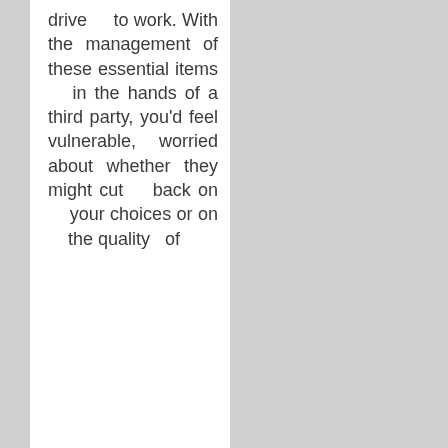drive to work. With the management of these essential items in the hands of a third party, you'd feel vulnerable, worried about whether they might cut back on your choices or on the quality of